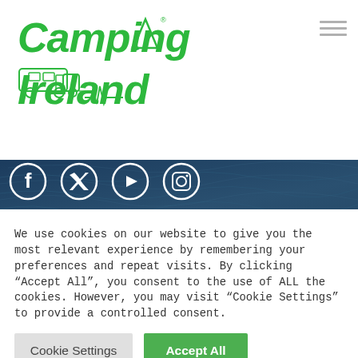[Figure (logo): Camping Ireland logo with green bold italic text 'Camping Ireland', a tree and tent icon, and a caravan/camper van silhouette below, with a registered trademark symbol]
[Figure (infographic): Hamburger menu icon (three horizontal lines) in top right corner]
[Figure (infographic): Social media icons row: Facebook, Twitter/X, YouTube, Instagram — white circle outline icons on dark blue/navy background over a water-textured hero image]
Holiday Ideas
Countryside
Beach Holiday
We use cookies on our website to give you the most relevant experience by remembering your preferences and repeat visits. By clicking "Accept All", you consent to the use of ALL the cookies. However, you may visit "Cookie Settings" to provide a controlled consent.
Cookie Settings
Accept All